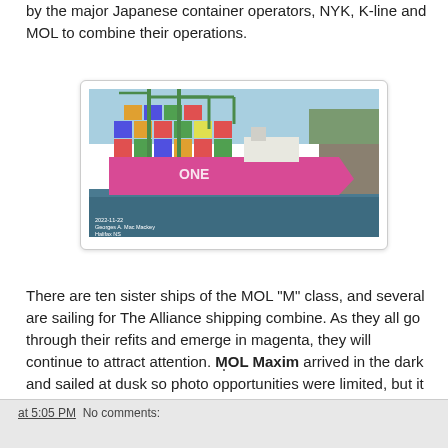by the major Japanese container operators, NYK, K-line and MOL to combine their operations.
[Figure (photo): A large magenta/pink container ship (ONE livery) docked at port with green cranes loading/unloading containers. Photo credit text visible in lower left corner of image.]
There are ten sister ships of the MOL "M" class, and several are sailing for The Alliance shipping combine. As they all go through their refits and emerge in magenta, they will continue to attract attention. MOL Maxim arrived in the dark and sailed at dusk so photo opportunities were limited, but it will be back.
.
at 5:05 PM  No comments: